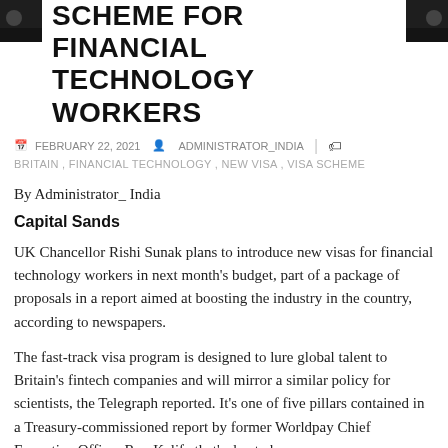SCHEME FOR FINANCIAL TECHNOLOGY WORKERS
FEBRUARY 22, 2021   ADMINISTRATOR_INDIA
BRITAIN , FINANCIAL TECHNOLOGY , NEW VISA , VISA SCHEME
By Administrator_ India
Capital Sands
UK Chancellor Rishi Sunak plans to introduce new visas for financial technology workers in next month’s budget, part of a package of proposals in a report aimed at boosting the industry in the country, according to newspapers.
The fast-track visa program is designed to lure global talent to Britain’s fintech companies and will mirror a similar policy for scientists, the Telegraph reported. It’s one of five pillars contained in a Treasury-commissioned report by former Worldpay Chief Executive Officer Ron Kalifa that’s due to be